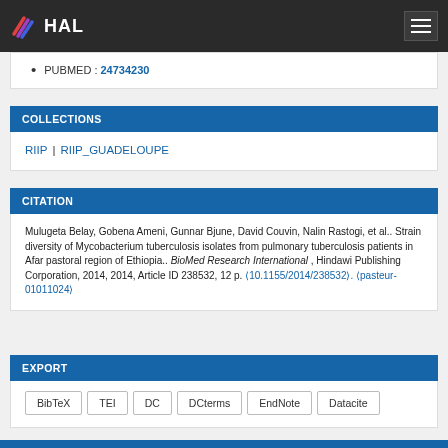HAL
PUBMED : 24734230
COLLECTIONS
RIIP | RIIP_GUADELOUPE
CITATION
Mulugeta Belay, Gobena Ameni, Gunnar Bjune, David Couvin, Nalin Rastogi, et al.. Strain diversity of Mycobacterium tuberculosis isolates from pulmonary tuberculosis patients in Afar pastoral region of Ethiopia.. BioMed Research International , Hindawi Publishing Corporation, 2014, 2014, Article ID 238532, 12 p. ⟨10.1155/2014/238532⟩. ⟨pasteur-01011024⟩
EXPORT
BibTeX | TEI | DC | DCterms | EndNote | Datacite